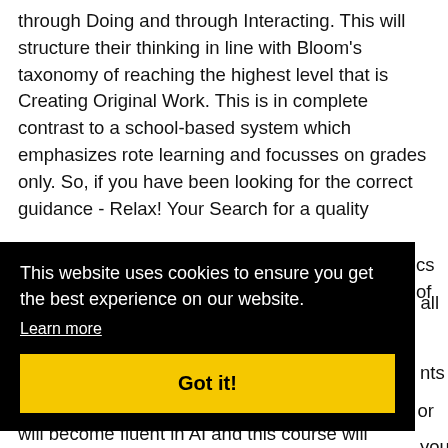through Doing and through Interacting. This will structure their thinking in line with Bloom's taxonomy of reaching the highest level that is Creating Original Work. This is in complete contrast to a school-based system which emphasizes rote learning and focusses on grades only. So, if you have been looking for the correct guidance - Relax! Your Search for a quality
This website uses cookies to ensure you get the best experience on our website. Learn more Got it!
will become fluent in AI and this course will